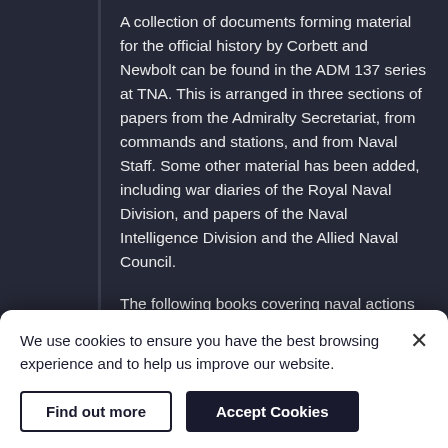A collection of documents forming material for the official history by Corbett and Newbolt can be found in the ADM 137 series at TNA. This is arranged in three sections of papers from the Admiralty Secretariat, from commands and stations, and from Naval Staff. Some other material has been added, including war diaries of the Royal Naval Division, and papers of the Naval Intelligence Division and the Allied Naval Council.
The following books covering naval actions of the First World War are also recommended:
Castles of Steel: Britain, Germany, and the
We use cookies to ensure you have the best browsing experience and to help us improve our website.